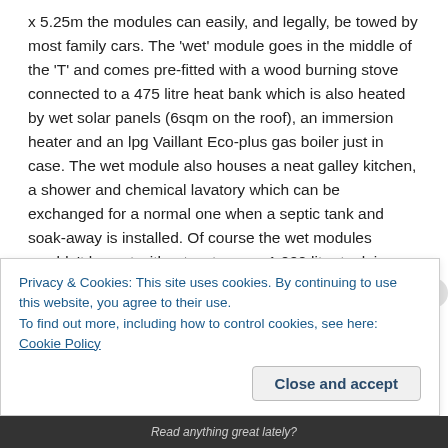x 5.25m the modules can easily, and legally, be towed by most family cars. The 'wet' module goes in the middle of the 'T' and comes pre-fitted with a wood burning stove connected to a 475 litre heat bank which is also heated by wet solar panels (6sqm on the roof), an immersion heater and an lpg Vaillant Eco-plus gas boiler just in case. The wet module also houses a neat galley kitchen, a shower and chemical lavatory which can be exchanged for a normal one when a septic tank and soak-away is installed. Of course the wet modules wouldn't be wet without water so a 1,000 litre tank is placed over the roof to give adequate supply and pressure. A trailer is available for fetching another 1,000 litres in an IBC if
Privacy & Cookies: This site uses cookies. By continuing to use this website, you agree to their use.
To find out more, including how to control cookies, see here: Cookie Policy
Close and accept
Read anything great lately?